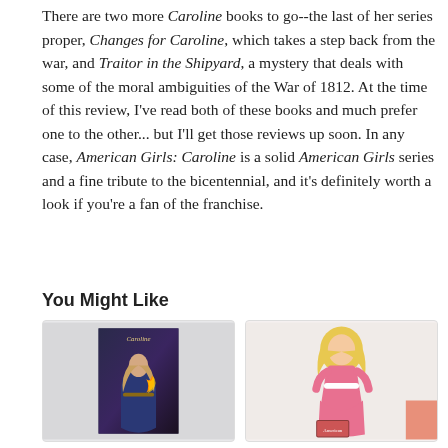There are two more Caroline books to go--the last of her series proper, Changes for Caroline, which takes a step back from the war, and Traitor in the Shipyard, a mystery that deals with some of the moral ambiguities of the War of 1812. At the time of this review, I've read both of these books and much prefer one to the other... but I'll get those reviews up soon. In any case, American Girls: Caroline is a solid American Girls series and a fine tribute to the bicentennial, and it's definitely worth a look if you're a fan of the franchise.
You Might Like
[Figure (photo): Book cover image for a Caroline American Girls book, showing a girl with a flame against a dark background]
[Figure (photo): American Girls Caroline doll in a pink dress with blonde hair, with a small book visible at the bottom]